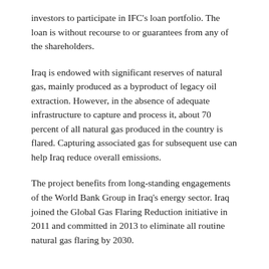investors to participate in IFC's loan portfolio. The loan is without recourse to or guarantees from any of the shareholders.
Iraq is endowed with significant reserves of natural gas, mainly produced as a byproduct of legacy oil extraction. However, in the absence of adequate infrastructure to capture and process it, about 70 percent of all natural gas produced in the country is flared. Capturing associated gas for subsequent use can help Iraq reduce overall emissions.
The project benefits from long-standing engagements of the World Bank Group in Iraq's energy sector. Iraq joined the Global Gas Flaring Reduction initiative in 2011 and committed in 2013 to eliminate all routine natural gas flaring by 2030.